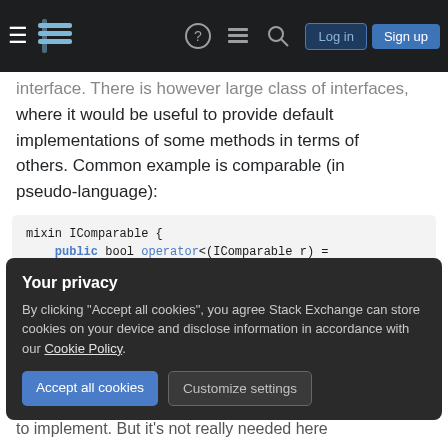Stack Exchange navigation bar with hamburger menu, logo, search, log in and sign up buttons
interface. There is however large class of interfaces, where it would be useful to provide default implementations of some methods in terms of others. Common example is comparable (in pseudo-language):
mixin IComparable {
    public bool operator<(IComparable r) =
    public bool operator>(IComparable r) {
    public bool operator<=(IComparable r) {
    public bool operator>=(IComparable r) {
    public bool operator==(IComparable r) {
    public bool operator!=(IComparable r) {
Your privacy
By clicking "Accept all cookies", you agree Stack Exchange can store cookies on your device and disclose information in accordance with our Cookie Policy.
Accept all cookies   Customize settings
to implement. But it's not really needed here